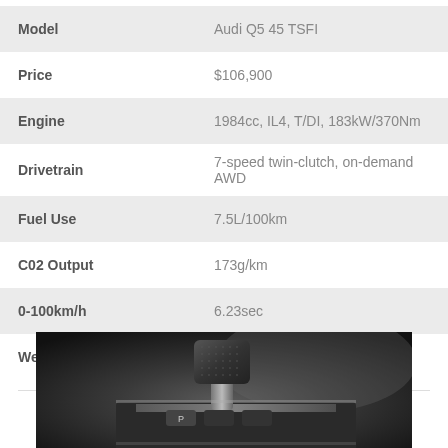| Attribute | Value |
| --- | --- |
| Model | Audi Q5 45 TSFI |
| Price | $106,900 |
| Engine | 1984cc, IL4, T/DI, 183kW/370Nm |
| Drivetrain | 7-speed twin-clutch, on-demand AWD |
| Fuel Use | 7.5L/100km |
| C02 Output | 173g/km |
| 0-100km/h | 6.23sec |
| Weight | 1865kg |
[Figure (photo): Close-up black and white photo of a gear shift knob and transmission controls in an Audi Q5 interior]